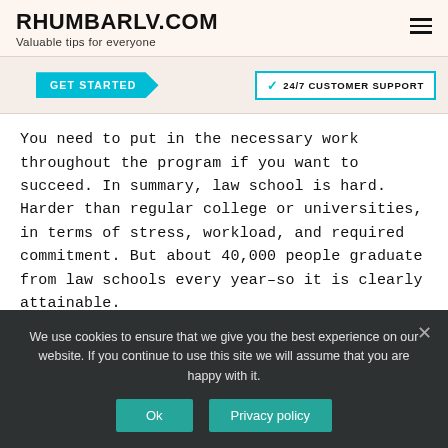RHUMBARLV.COM
Valuable tips for everyone
[Figure (screenshot): Banner with GET STARTED arrow button and 24/7 CUSTOMER SUPPORT badge with checkmark]
You need to put in the necessary work throughout the program if you want to succeed. In summary, law school is hard. Harder than regular college or universities, in terms of stress, workload, and required commitment. But about 40,000 people graduate from law schools every year–so it is clearly attainable.
Where do environmental lawyers
We use cookies to ensure that we give you the best experience on our website. If you continue to use this site we will assume that you are happy with it.